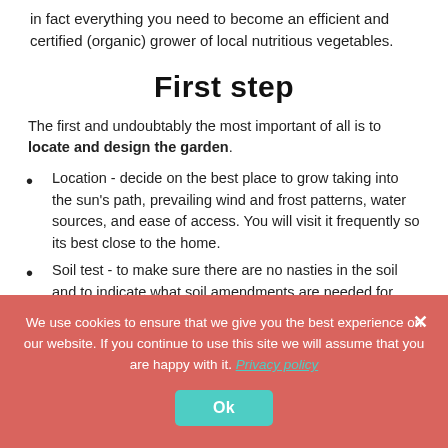in fact everything you need to become an efficient and certified (organic) grower of local nutritious vegetables.
First step
The first and undoubtably the most important of all is to locate and design the garden.
Location - decide on the best place to grow taking into the sun's path, prevailing wind and frost patterns, water sources, and ease of access. You will visit it frequently so its best close to the home.
Soil test - to make sure there are no nasties in the soil and to indicate what soil amendments are needed for optimum production.
We use cookies to ensure that we give you the best experience on our website. If you continue to use this site we will assume that you are happy with it. Privacy policy Ok